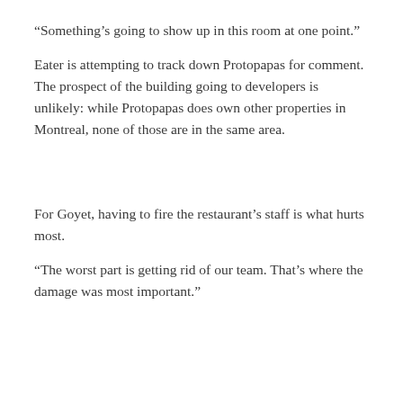“Something’s going to show up in this room at one point.”
Eater is attempting to track down Protopapas for comment. The prospect of the building going to developers is unlikely: while Protopapas does own other properties in Montreal, none of those are in the same area.
For Goyet, having to fire the restaurant’s staff is what hurts most.
“The worst part is getting rid of our team. That’s where the damage was most important.”